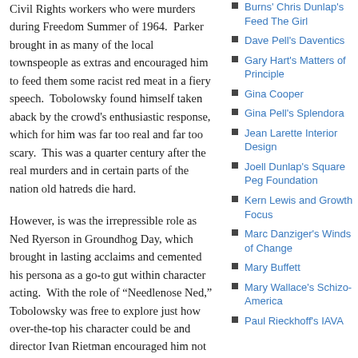Civil Rights workers who were murders during Freedom Summer of 1964. Parker brought in as many of the local townspeople as extras and encouraged him to feed them some racist red meat in a fiery speech. Tobolowsky found himself taken aback by the crowd's enthusiastic response, which for him was far too real and far too scary. This was a quarter century after the real murders and in certain parts of the nation old hatreds die hard.
However, is was the irrepressible role as Ned Ryerson in Groundhog Day, which brought in lasting acclaims and cemented his persona as a go-to gut within character acting. With the role of “Needlenose Ned,” Tobolowsky was free to explore just how over-the-top his character could be and director Ivan Rietman encouraged him not to hold back. Serving as Murray's foil
Burns' Chris Dunlap's Feed The Girl
Dave Pell's Daventics
Gary Hart's Matters of Principle
Gina Cooper
Gina Pell's Splendora
Jean Larette Interior Design
Joell Dunlap's Square Peg Foundation
Kern Lewis and Growth Focus
Marc Danziger's Winds of Change
Mary Buffett
Mary Wallace's Schizo-America
Paul Rieckhoff's IAVA